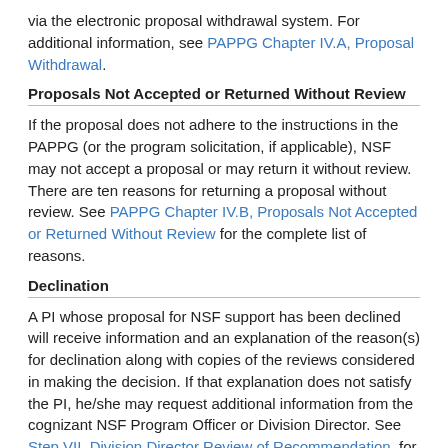via the electronic proposal withdrawal system. For additional information, see PAPPG Chapter IV.A, Proposal Withdrawal.
Proposals Not Accepted or Returned Without Review
If the proposal does not adhere to the instructions in the PAPPG (or the program solicitation, if applicable), NSF may not accept a proposal or may return it without review. There are ten reasons for returning a proposal without review. See PAPPG Chapter IV.B, Proposals Not Accepted or Returned Without Review for the complete list of reasons.
Declination
A PI whose proposal for NSF support has been declined will receive information and an explanation of the reason(s) for declination along with copies of the reviews considered in making the decision. If that explanation does not satisfy the PI, he/she may request additional information from the cognizant NSF Program Officer or Division Director. See Step VII, Division Director Review of Recommendation, for information released electronically to the PI.
Reconsideration